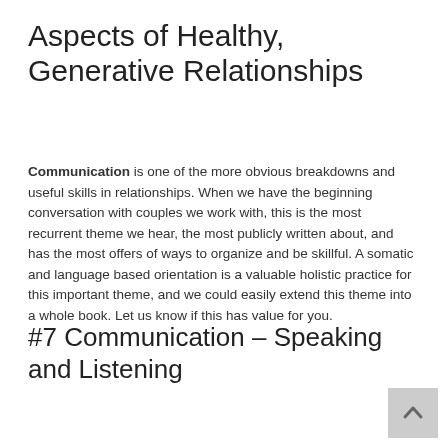Aspects of Healthy, Generative Relationships
Communication is one of the more obvious breakdowns and useful skills in relationships. When we have the beginning conversation with couples we work with, this is the most recurrent theme we hear, the most publicly written about, and has the most offers of ways to organize and be skillful. A somatic and language based orientation is a valuable holistic practice for this important theme, and we could easily extend this theme into a whole book. Let us know if this has value for you.
#7 Communication – Speaking and Listening